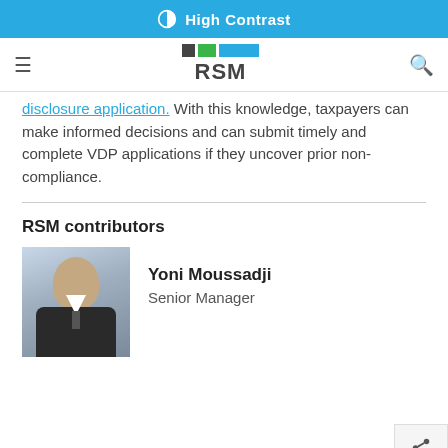High Contrast
RSM
disclosure application. With this knowledge, taxpayers can make informed decisions and can submit timely and complete VDP applications if they uncover prior non-compliance.
RSM contributors
[Figure (photo): Headshot photo of Yoni Moussadji, a man in a dark suit with a tie, light background.]
Yoni Moussadji
Senior Manager